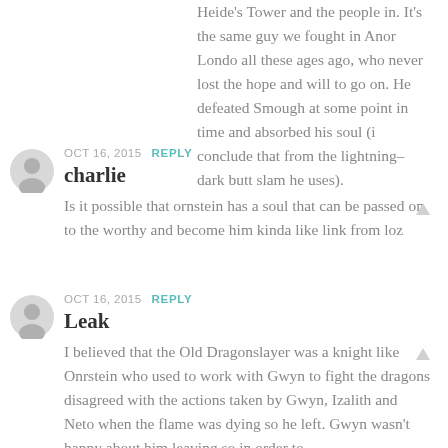Heide's Tower and the people in. It's the same guy we fought in Anor Londo all these ages ago, who never lost the hope and will to go on. He defeated Smough at some point in time and absorbed his soul (i conclude that from the lightning-dark butt slam he uses).
OCT 16, 2015  REPLY
charlie
Is it possible that ornstein has a soul that can be passed on to the worthy and become him kinda like link from loz
OCT 16, 2015  REPLY
Leak
I believed that the Old Dragonslayer was a knight like Onrstein who used to work with Gwyn to fight the dragons disagreed with the actions taken by Gwyn, Izalith and Neto when the flame was dying so he left. Gwyn wasn't happy about him leaving so in order to